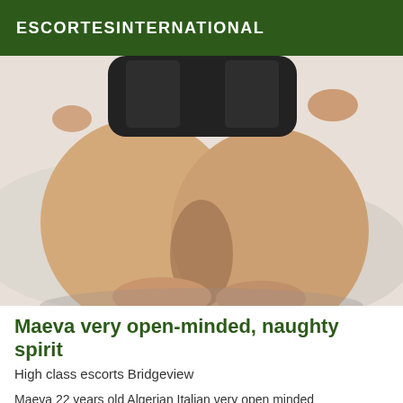ESCORTESINTERNATIONAL
[Figure (photo): Person in black bodysuit kneeling on white bedding, viewed from behind]
Maeva very open-minded, naughty spirit
High class escorts Bridgeview
Maeva 22 years old Algerian Italian very open minded